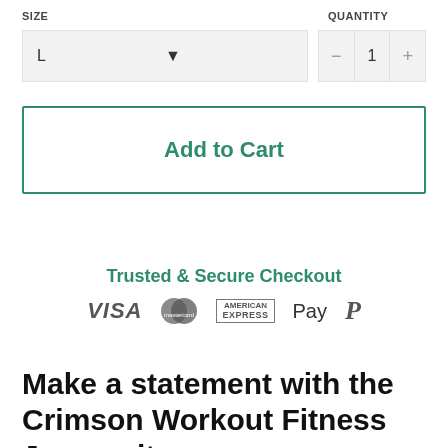SIZE
QUANTITY
L
1
Add to Cart
Trusted & Secure Checkout
[Figure (infographic): Payment method icons: VISA, Mastercard, American Express, Apple Pay, PayPal]
Make a statement with the Crimson Workout Fitness Jumpsuit